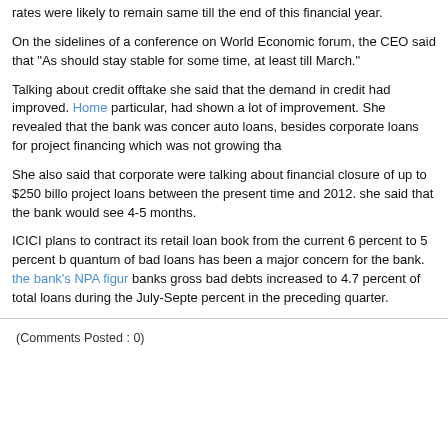rates were likely to remain same till the end of this financial year.
On the sidelines of a conference on World Economic forum, the CEO said that "As should stay stable for some time, at least till March."
Talking about credit offtake she said that the demand in credit had improved. Home particular, had shown a lot of improvement. She revealed that the bank was concer auto loans, besides corporate loans for project financing which was not growing tha
She also said that corporate were talking about financial closure of up to $250 billo project loans between the present time and 2012. she said that the bank would see 4-5 months.
ICICI plans to contract its retail loan book from the current 6 percent to 5 percent b quantum of bad loans has been a major concern for the bank. the bank's NPA figur banks gross bad debts increased to 4.7 percent of total loans during the July-Septe percent in the preceding quarter.
(Comments Posted : 0)